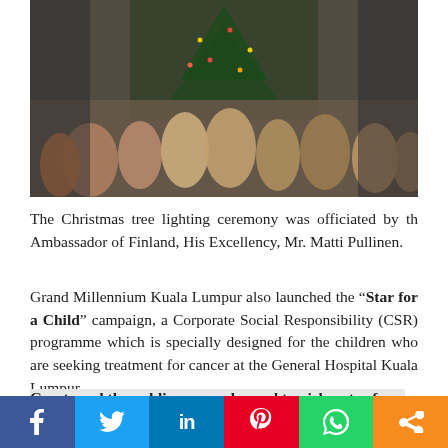[Figure (photo): Crowd of people at a Christmas tree lighting ceremony event, large decorated Christmas tree visible in background]
The Christmas tree lighting ceremony was officiated by the Ambassador of Finland, His Excellency, Mr. Matti Pullinen.
Grand Millennium Kuala Lumpur also launched the “Star for a Child” campaign, a Corporate Social Responsibility (CSR) programme which is specially designed for the children who are seeking treatment for cancer at the General Hospital Kuala Lumpur.
Guests and the public were welcomed to pick a star from